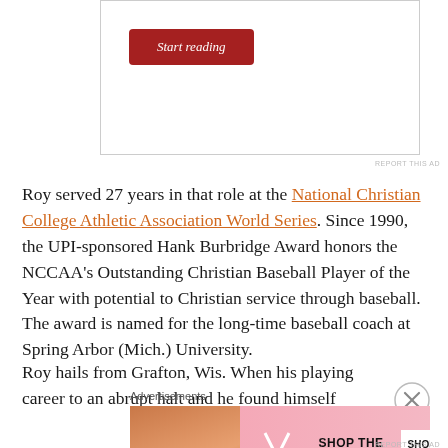[Figure (other): A red 'Start reading' button inside an ad/content box with a rounded rectangle border.]
REPORT THIS AD
Roy served 27 years in that role at the National Christian College Athletic Association World Series. Since 1990, the UPI-sponsored Hank Burbridge Award honors the NCCAA's Outstanding Christian Baseball Player of the Year with potential to Christian service through baseball. The award is named for the long-time baseball coach at Spring Arbor (Mich.) University.
Roy hails from Grafton, Wis. When his playing career to an abrupt halt and he found himself looking for another career, h
Advertisements
[Figure (screenshot): Victoria's Secret advertisement with woman's face on left, VS logo, 'SHOP THE COLLECTION' text and 'SHOP NOW' button on pink background.]
REPORT THIS AD